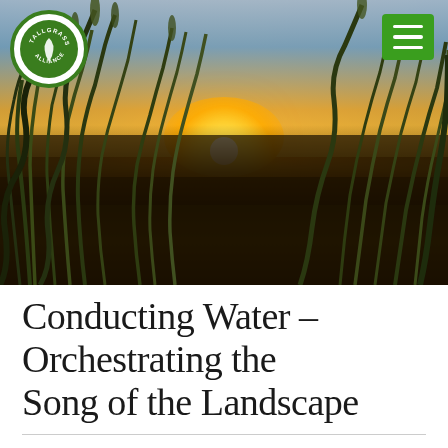[Figure (photo): Hero photo of a prairie sunset with tall grass silhouettes in the foreground and a bright orange-golden sun setting on the horizon under a blue-orange sky. A circular green logo appears top-left and a green hamburger menu button appears top-right.]
Conducting Water – Orchestrating the Song of the Landscape
by Maureen Sundberg on December 16, 2018 in Landscape